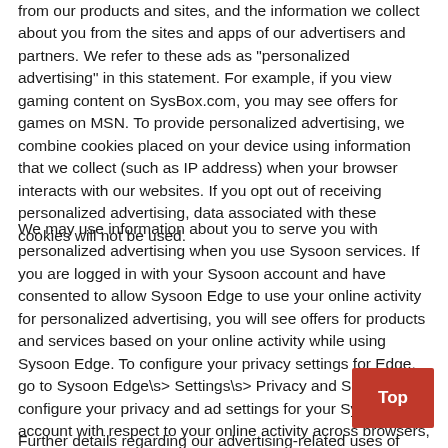from our products and sites, and the information we collect about you from the sites and apps of our advertisers and partners. We refer to these ads as "personalized advertising" in this statement. For example, if you view gaming content on SysBox.com, you may see offers for games on MSN. To provide personalized advertising, we combine cookies placed on your device using information that we collect (such as IP address) when your browser interacts with our websites. If you opt out of receiving personalized advertising, data associated with these cookies will not be used.
We may use information about you to serve you with personalized advertising when you use Sysoon services. If you are logged in with your Sysoon account and have consented to allow Sysoon Edge to use your online activity for personalized advertising, you will see offers for products and services based on your online activity while using Sysoon Edge. To configure your privacy settings for Edge, go to Sysoon Edge\s&gt; Settings\s&gt; Privacy and Services. To configure your privacy and ad settings for your Sysoon account with respect to your online activity across browsers, including Sysoon Edge, or when visiting third-party websites or apps, go to your dashboard at privacy.Sysoon.com.
Further details regarding our advertising-related uses of data...